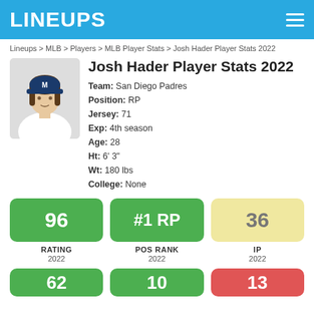LINEUPS
Lineups > MLB > Players > MLB Player Stats > Josh Hader Player Stats 2022
Josh Hader Player Stats 2022
Team: San Diego Padres
Position: RP
Jersey: 71
Exp: 4th season
Age: 28
Ht: 6' 3"
Wt: 180 lbs
College: None
[Figure (photo): Headshot photo of Josh Hader in Milwaukee Brewers uniform]
96 RATING 2022
#1 RP POS RANK 2022
36 IP 2022
62 (partial) 2022
10 (partial) 2022
13 (partial) 2022